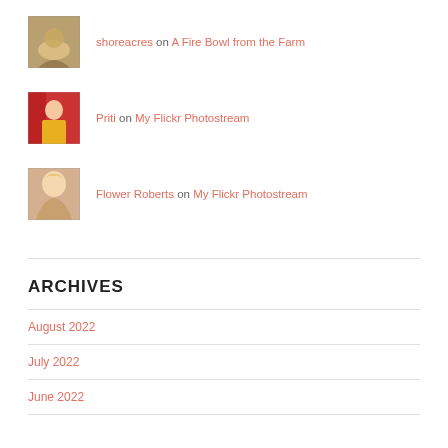shoreacres on A Fire Bowl from the Farm
Priti on My Flickr Photostream
Flower Roberts on My Flickr Photostream
ARCHIVES
August 2022
July 2022
June 2022